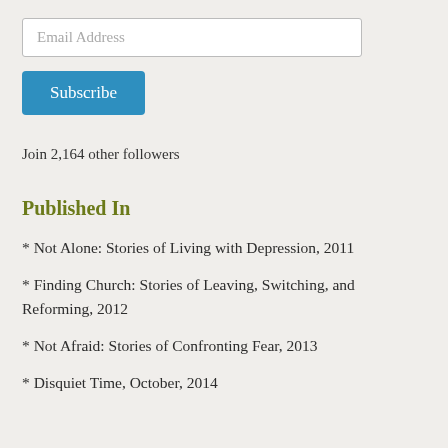Email Address
Subscribe
Join 2,164 other followers
Published In
* Not Alone: Stories of Living with Depression, 2011
* Finding Church: Stories of Leaving, Switching, and Reforming, 2012
* Not Afraid: Stories of Confronting Fear, 2013
* Disquiet Time, October, 2014